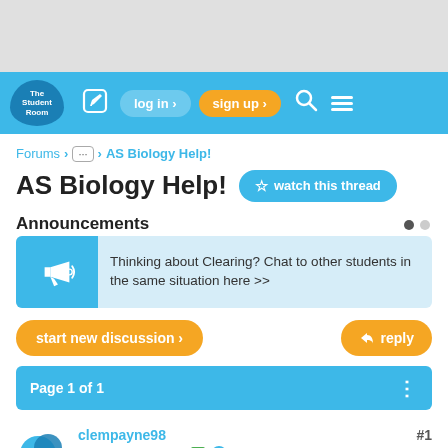[Figure (screenshot): The Student Room website navigation bar with logo, login, sign up, search and menu icons]
Forums > ... > AS Biology Help!
AS Biology Help!
Announcements
Thinking about Clearing? Chat to other students in the same situation here >>
start new discussion >
reply
Page 1 of 1
clempayne98
Badges: 3  Rep: